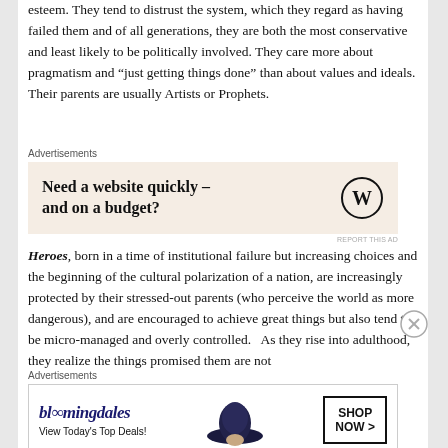esteem.  They tend to distrust the system, which they regard as having failed them and of all generations, they are both the most conservative and least likely to be politically involved.  They care more about pragmatism and “just getting things done” than about values and ideals.  Their parents are usually Artists or Prophets.
[Figure (other): WordPress advertisement: 'Need a website quickly – and on a budget?' with WordPress logo on beige/tan background]
Heroes, born in a time of institutional failure but increasing choices and the beginning of the cultural polarization of a nation,  are increasingly protected by their stressed-out parents (who perceive the world as more dangerous), and are encouraged to achieve great things but also tend to be micro-managed and overly controlled.   As they rise into adulthood, they realize the things promised them are not
[Figure (other): Bloomingdale's advertisement: 'View Today's Top Deals!' with 'SHOP NOW >' button and woman in hat photo]